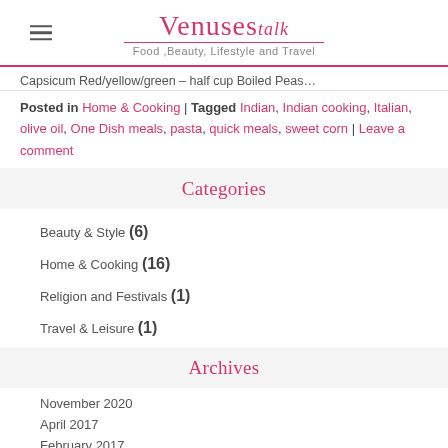Venuses talk — Food, Beauty, Lifestyle and Travel
Capsicum Red/yellow/green – half cup Boiled Peas…
Posted in Home & Cooking | Tagged Indian, Indian cooking, Italian, olive oil, One Dish meals, pasta, quick meals, sweet corn | Leave a comment
Categories
Beauty & Style (6)
Home & Cooking (16)
Religion and Festivals (1)
Travel & Leisure (1)
Archives
November 2020
April 2017
February 2017